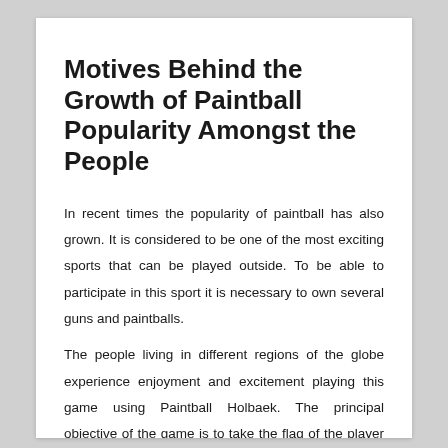Motives Behind the Growth of Paintball Popularity Amongst the People
In recent times the popularity of paintball has also grown. It is considered to be one of the most exciting sports that can be played outside. To be able to participate in this sport it is necessary to own several guns and paintballs.
The people living in different regions of the globe experience enjoyment and excitement playing this game using Paintball Holbaek. The principal objective of the game is to take the flag of the player playing the amusement. You can now play the